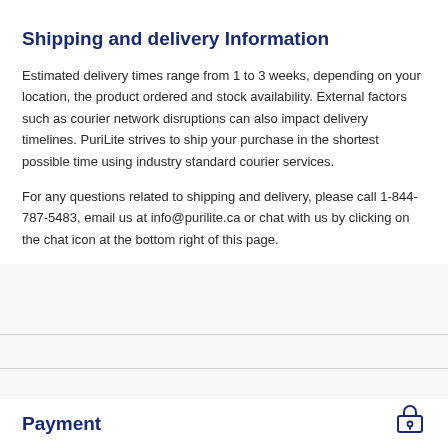Shipping and delivery Information
Estimated delivery times range from 1 to 3 weeks, depending on your location, the product ordered and stock availability. External factors such as courier network disruptions can also impact delivery timelines. PuriLite strives to ship your purchase in the shortest possible time using industry standard courier services.
For any questions related to shipping and delivery, please call 1-844-787-5483, email us at info@purilite.ca or chat with us by clicking on the chat icon at the bottom right of this page.
Payment